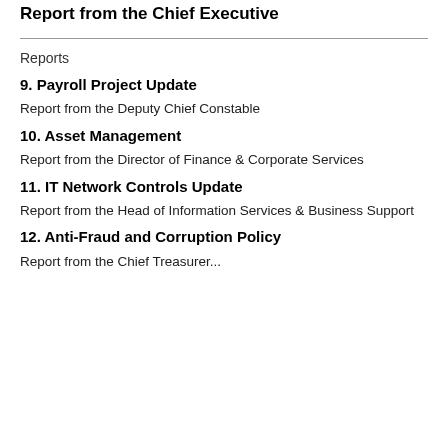Report from the Chief Executive
Reports
9. Payroll Project Update
Report from the Deputy Chief Constable
10. Asset Management
Report from the Director of Finance & Corporate Services
11. IT Network Controls Update
Report from the Head of Information Services & Business Support
12. Anti-Fraud and Corruption Policy
Report from the Chief Treasurer...